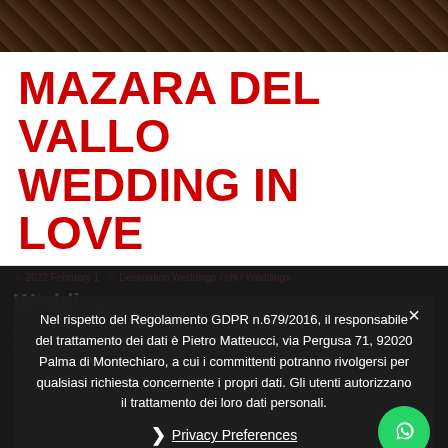[Figure (photo): Dark nature/rock textured background image at top of page]
MAZARA DEL VALLO WEDDING IN LOVE
2022 February 1 · Destination Weddings / chi / Weddings
Wedding...
A wedding in the beautiful city of Mazara del Vallo. Love always wins, above all else.
Nel rispetto del Regolamento GDPR n.679/2016, il responsabile del trattamento dei dati è Pietro Matteucci, via Pergusa 71, 92020 Palma di Montechiaro, a cui i committenti potranno rivolgersi per qualsiasi richiesta concernente i propri dati. Gli utenti autorizzano il trattamento dei loro dati personali.
❯ Privacy Preferences
I Agree